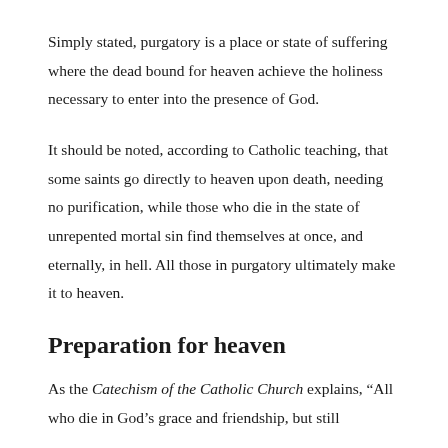Simply stated, purgatory is a place or state of suffering where the dead bound for heaven achieve the holiness necessary to enter into the presence of God.
It should be noted, according to Catholic teaching, that some saints go directly to heaven upon death, needing no purification, while those who die in the state of unrepented mortal sin find themselves at once, and eternally, in hell. All those in purgatory ultimately make it to heaven.
Preparation for heaven
As the Catechism of the Catholic Church explains, “All who die in God’s grace and friendship, but still